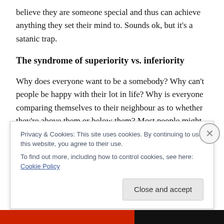believe they are someone special and thus can achieve anything they set their mind to. Sounds ok, but it's a satanic trap.
The syndrome of superiority vs. inferiority
Why does everyone want to be a somebody? Why can't people be happy with their lot in life? Why is everyone comparing themselves to their neighbour as to whether they're above them or below them? Most people might not bring it to their conscious mind, but just below the surface everyone knows within their circle of friends and family.
Privacy & Cookies: This site uses cookies. By continuing to use this website, you agree to their use. To find out more, including how to control cookies, see here: Cookie Policy